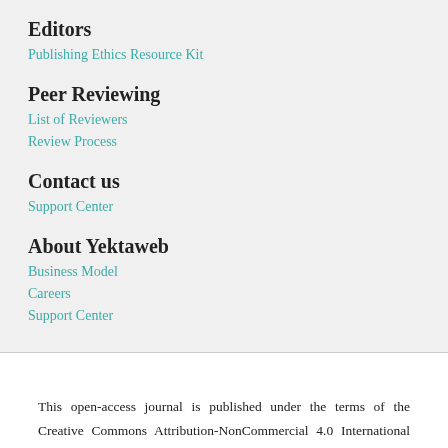Editors
Publishing Ethics Resource Kit
Peer Reviewing
List of Reviewers
Review Process
Contact us
Support Center
About Yektaweb
Business Model
Careers
Support Center
This open-access journal is published under the terms of the Creative Commons Attribution-NonCommercial 4.0 International License which permits Share (copy and redistribute the material in any medium or